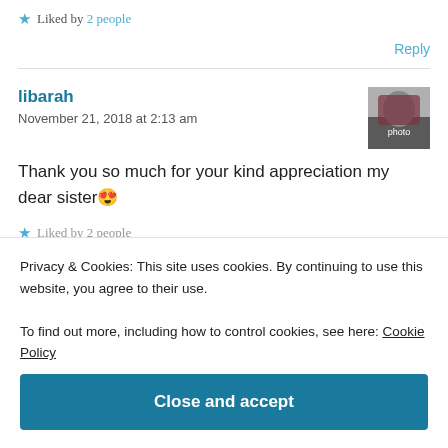★ Liked by 2 people
Reply
libarah
November 21, 2018 at 2:13 am
[Figure (photo): User avatar thumbnail for libarah]
Thank you so much for your kind appreciation my dear sister 😍
★ Liked by 2 people (partially visible)
Privacy & Cookies: This site uses cookies. By continuing to use this website, you agree to their use.
To find out more, including how to control cookies, see here: Cookie Policy
Close and accept